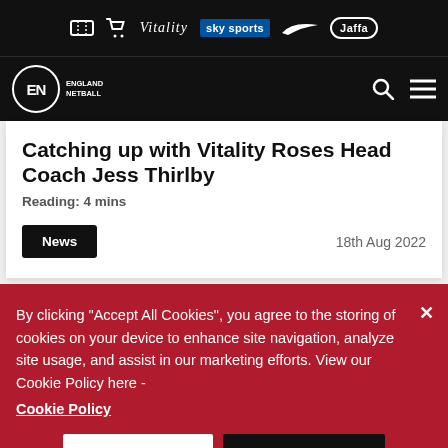Vitality sky sports Nike Jaffa — England Netball navigation bar
Catching up with Vitality Roses Head Coach Jess Thirlby
Reading: 4 mins
News  18th Aug 2022
By clicking "Accept All Cookies", you agree to the storing of cookies on your device to enhance site navigation, analyze site usage, and assist in our marketing efforts. View our Cookie Policy here - Cookie Policy
Cookies Settings  Accept All Cookies